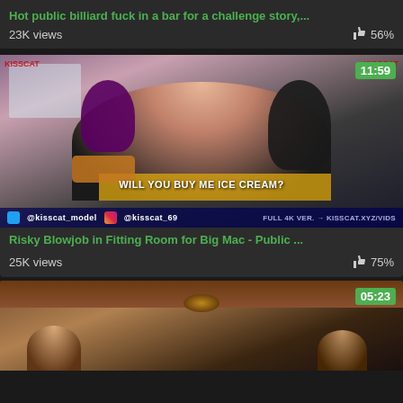Hot public billiard fuck in a bar for a challenge story,...
23K views   56%
[Figure (screenshot): Video thumbnail showing woman with purple-dyed hair in a mall, holding a burger, eating. Text overlay: WILL YOU BUY ME ICE CREAM?. Duration badge: 11:59]
Risky Blowjob in Fitting Room for Big Mac - Public ...
25K views   75%
[Figure (screenshot): Partial video thumbnail showing restaurant interior scene. Duration badge: 05:23]